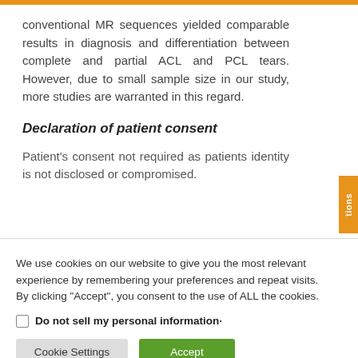conventional MR sequences yielded comparable results in diagnosis and differentiation between complete and partial ACL and PCL tears. However, due to small sample size in our study, more studies are warranted in this regard.
Declaration of patient consent
Patient's consent not required as patients identity is not disclosed or compromised.
We use cookies on our website to give you the most relevant experience by remembering your preferences and repeat visits. By clicking "Accept", you consent to the use of ALL the cookies.
Do not sell my personal information
Cookie Settings | Accept